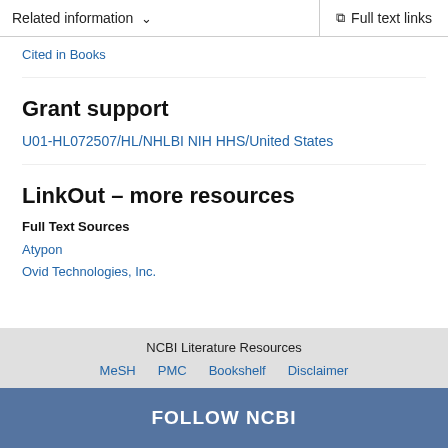Related information  ∨   Full text links
Cited in Books
Grant support
U01-HL072507/HL/NHLBI NIH HHS/United States
LinkOut – more resources
Full Text Sources
Atypon
Ovid Technologies, Inc.
NCBI Literature Resources  MeSH  PMC  Bookshelf  Disclaimer
FOLLOW NCBI